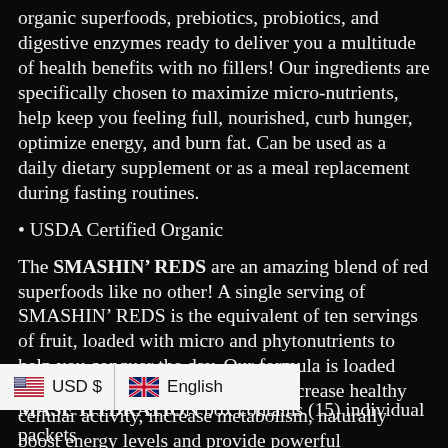organic superfoods, prebiotics, probiotics, and digestive enzymes ready to deliver you a multitude of health benefits with no fillers! Our ingredients are specifically chosen to maximize micro-nutrients, help keep you feeling full, nourished, curb hunger, optimize energy, and burn fat. Can be used as a daily dietary supplement or as a meal replacement during fasting routines.
• USDA Certified Organic
The SMASHIN' REDS are an amazing blend of red superfoods like no other! A single serving of SMASHIN' REDS is the equivalent of ten servings of fruit, loaded with micro and phytonutrients to help you conquer the day. Our formula is loaded with quality ingredients that help increase healthy cellular activity, increase metabolism, naturally boost energy levels and provide powerful antioxidants to help strengthen your body's defense systems! Take your health and performance to the next levels daily!
MASE HYDRATION box contains (15) individual packets